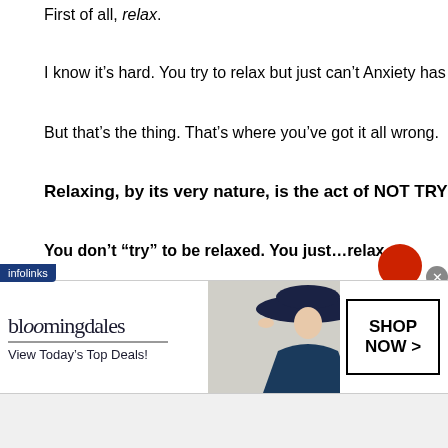First of all, relax.
I know it’s hard. You try to relax but just can’t Anxiety has th
But that’s the thing. That’s where you’ve got it all wrong.
Relaxing, by its very nature, is the act of NOT TRYING A
You don’t “try” to be relaxed. You just…relax.
Don’t try to come up with solutions to your problems. Don’t
And most importantly, don’t try to convince yourself that y
[Figure (screenshot): Bloomingdale's advertisement banner: logo, 'View Today's Top Deals!' tagline, fashion photo of woman in hat, 'SHOP NOW >' button. Infolinks tab visible at top-left of ad.]